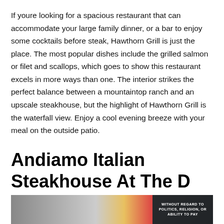If youre looking for a spacious restaurant that can accommodate your large family dinner, or a bar to enjoy some cocktails before steak, Hawthorn Grill is just the place. The most popular dishes include the grilled salmon or filet and scallops, which goes to show this restaurant excels in more ways than one. The interior strikes the perfect balance between a mountaintop ranch and an upscale steakhouse, but the highlight of Hawthorn Grill is the waterfall view. Enjoy a cool evening breeze with your meal on the outside patio.
Andiamo Italian Steakhouse At The D
[Figure (photo): Advertisement banner showing an airplane being loaded with cargo, with a dark overlay on the right side reading 'WITHOUT REGARD TO' in white text.]